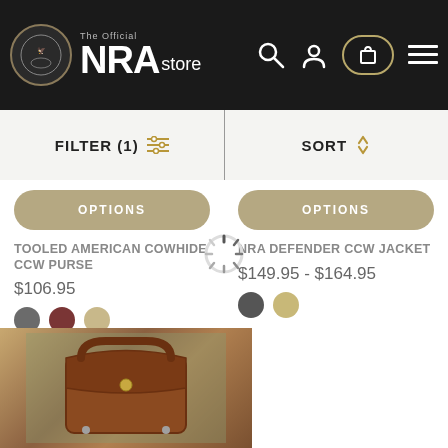[Figure (screenshot): NRA Store website header with logo, search icon, account icon, cart icon, and hamburger menu]
FILTER (1)
SORT
OPTIONS
OPTIONS
TOOLED AMERICAN COWHIDE CCW PURSE
NRA DEFENDER CCW JACKET
$106.95
$149.95 - $164.95
[Figure (photo): Photo of a brown leather CCW purse/bag product]